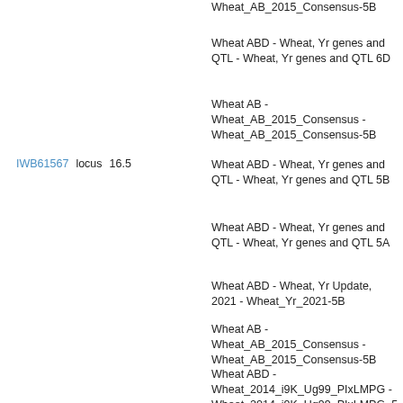Wheat_AB_2015_Consensus-5B
Wheat ABD - Wheat, Yr genes and QTL - Wheat, Yr genes and QTL 6D
Wheat AB - Wheat_AB_2015_Consensus - Wheat_AB_2015_Consensus-5B
IWB61567  locus  16.5
Wheat ABD - Wheat, Yr genes and QTL - Wheat, Yr genes and QTL 5B
Wheat ABD - Wheat, Yr genes and QTL - Wheat, Yr genes and QTL 5A
Wheat ABD - Wheat, Yr Update, 2021 - Wheat_Yr_2021-5B
Wheat AB - Wheat_AB_2015_Consensus - Wheat_AB_2015_Consensus-5B
Wheat ABD - Wheat_2014_i9K_Ug99_PIxLMPG - Wheat_2014_i9K_Ug99_PIxLMPG_5B
Wheat AB - Wheat_AB, Svevo x Zavitan - Wheat_AB, Svevo x Zavitan 5B